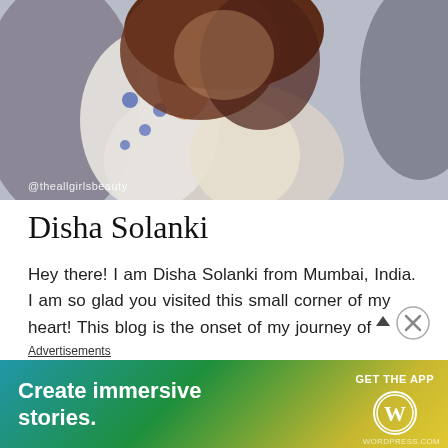[Figure (photo): Profile photo of Disha Solanki, a woman wearing a white and blue floral top with a white watch, with a watermark '@theallgirlsbeauty' at the bottom left of the image.]
Disha Solanki
Hey there! I am Disha Solanki from Mumbai, India. I am so glad you visited this small corner of my heart! This blog is the onset of my journey of learning and growth. I love cooking and I am a sucker for DIY stuff, minimalism.
Advertisements
[Figure (screenshot): WordPress advertisement banner with gradient background (blue to green to yellow). Text reads 'Create immersive stories.' with 'GET THE APP' call to action and WordPress logo.]